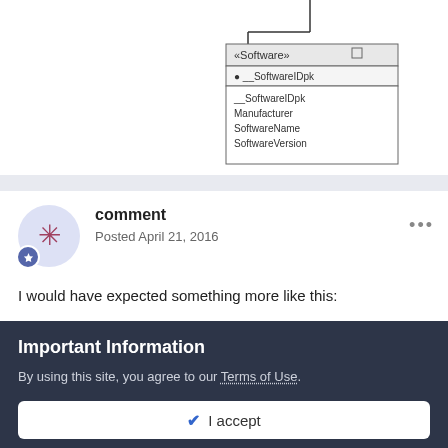[Figure (engineering-diagram): UML class diagram showing a Software entity box with attributes: __SoftwareIDpk (primary key), and fields __SoftwareIDpk, Manufacturer, SoftwareName, SoftwareVersion. A line connects from above into the top of the box.]
comment
Posted April 21, 2016
I would have expected something more like this:
Important Information
By using this site, you agree to our Terms of Use.
✓ I accept